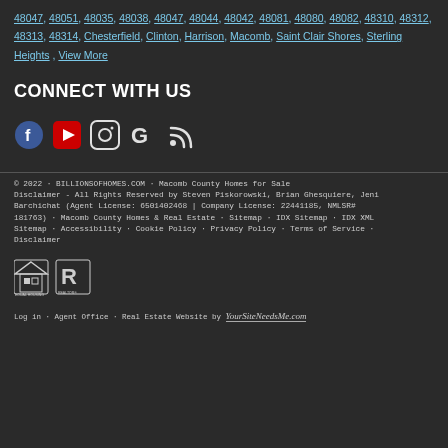48047, 48051, 48035, 48038, 48047, 48044, 48042, 48081, 48080, 48082, 48310, 48312, 48313, 48314, Chesterfield, Clinton, Harrison, Macomb, Saint Clair Shores, Sterling Heights , View More
CONNECT WITH US
[Figure (infographic): Social media icons: Facebook, YouTube, Instagram, Google, RSS feed]
© 2022 · BILLIONSOFHOMES.COM · Macomb County Homes for Sale Disclaimer - All Rights Reserved by Steven Piskorowski, Brian Ghesquiere, Jeni Barchichat (Agent License: 6501402468 | Company License: 22441185, NMLSR# 181763) · Macomb County Homes & Real Estate · Sitemap · IDX Sitemap · IDX XML Sitemap · Accessibility · Cookie Policy · Privacy Policy · Terms of Service · Disclaimer
[Figure (logo): Equal Housing Opportunity and Realtor logos]
Log in · Agent Office · Real Estate Website by YourSiteNeedsMe.com